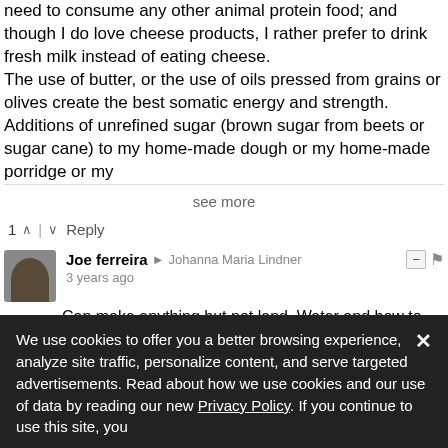need to consume any other animal protein food; and though I do love cheese products, I rather prefer to drink fresh milk instead of eating cheese.
The use of butter, or the use of oils pressed from grains or olives create the best somatic energy and strength.
Additions of unrefined sugar (brown sugar from beets or sugar cane) to my home-made dough or my home-made porridge or my
see more
1 ^ | v Reply
Joe ferreira → Johanna Maria Lindner
3 years ago
Can make anything,but not land. Water and how to store water safely,land with no water is useless.Storage of food to take to market is most important like a cool chine if you will is where
We use cookies to offer you a better browsing experience, analyze site traffic, personalize content, and serve targeted advertisements. Read about how we use cookies and our use of data by reading our new Privacy Policy. If you continue to use this site, you